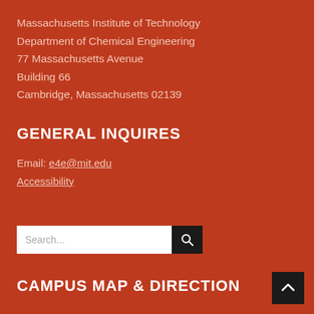Massachusetts Institute of Technology
Department of Chemical Engineering
77 Massachusetts Avenue
Building 66
Cambridge, Massachusetts 02139
GENERAL INQUIRES
Email: e4e@mit.edu
Accessibility
Search...
CAMPUS MAP & DIRECTION